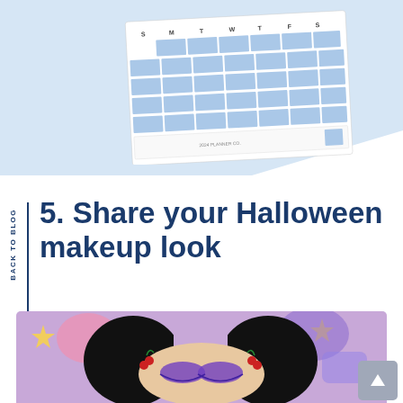[Figure (photo): A weekly planner/calendar printable sheet with blue highlighted rows for each day of the week (S, M, T, W, T, F, S), shown on a light blue background with a geometric triangle shape.]
5. Share your Halloween makeup look
[Figure (photo): A person with black hair styled in two high pigtails with cherry hair clips, wearing elaborate purple/blue eye makeup, photographed in front of a colorful purple cartoon-themed backdrop.]